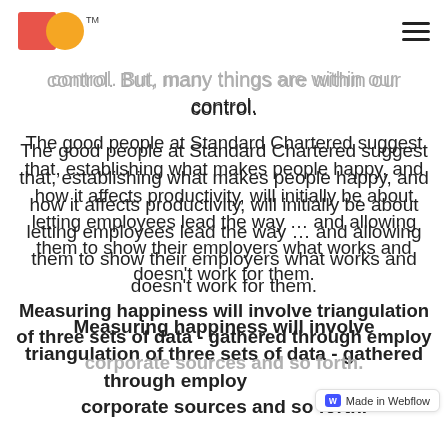Logo and navigation header
control. But, many things are within our control.
The good people at Standard Chartered suggest that, establishing what makes people happy, and how it affects productivity, will initially be about letting employees lead the way … and allowing them to show their employers what works and doesn't work for them.
Measuring happiness will involve triangulation of three sets of data - gathered through employ corporate sources and so forth.